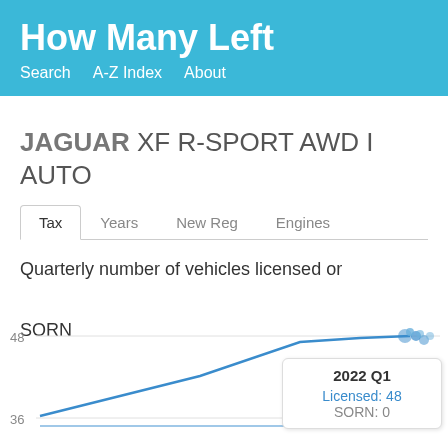How Many Left
Search   A-Z Index   About
JAGUAR XF R-SPORT AWD I AUTO
Tax   Years   New Reg   Engines
Quarterly number of vehicles licensed or SORN
[Figure (line-chart): Quarterly number of vehicles licensed or SORN]